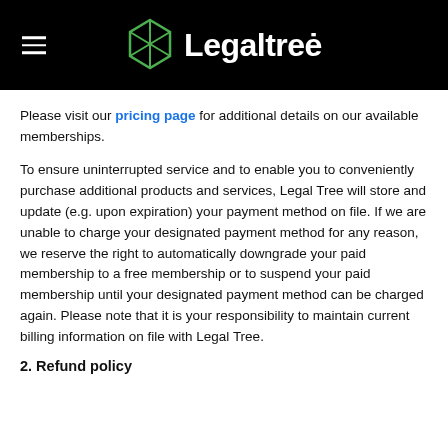Legaltree
Please visit our pricing page for additional details on our available memberships.
To ensure uninterrupted service and to enable you to conveniently purchase additional products and services, Legal Tree will store and update (e.g. upon expiration) your payment method on file. If we are unable to charge your designated payment method for any reason, we reserve the right to automatically downgrade your paid membership to a free membership or to suspend your paid membership until your designated payment method can be charged again. Please note that it is your responsibility to maintain current billing information on file with Legal Tree.
2. Refund policy